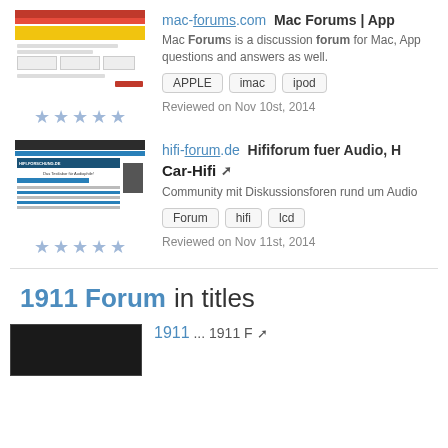[Figure (screenshot): Screenshot of mac-forums.com website showing a forum interface with red header and yellow highlighted section]
mac-forums.com  Mac Forums | App...
Mac Forums is a discussion forum for Mac, App... questions and answers as well.
APPLE
imac
ipod
Reviewed on Nov 10st, 2014
[Figure (screenshot): Screenshot of hifi-forum.de website showing a hifi forum with dark header and blue navigation]
hifi-forum.de  Hififorum fuer Audio, h...
Car-Hifi
Community mit Diskussionsforen rund um Audio...
Forum
hifi
lcd
Reviewed on Nov 11st, 2014
1911 Forum  in titles
[Figure (screenshot): Dark screenshot thumbnail at bottom]
1911 ... 1911 F...